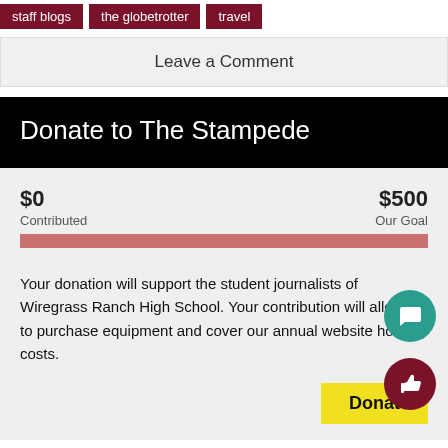staff blogs
the globetrotter
travel
Leave a Comment
Donate to The Stampede
$0 Contributed | $500 Our Goal
Your donation will support the student journalists of Wiregrass Ranch High School. Your contribution will allow us to purchase equipment and cover our annual website hosting costs.
Donate